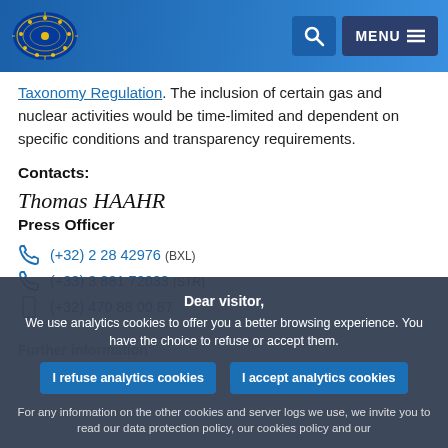European Parliament header with logo, search and menu buttons
Taxonomy Regulation. The inclusion of certain gas and nuclear activities would be time-limited and dependent on specific conditions and transparency requirements.
Contacts:
Thomas HAAHR
Press Officer
(+32) 2 28 42976 (BXL)
(+33) 3 881 72033 (STR)
(+32) 470 88 00 87
Further information
Dear visitor, We use analytics cookies to offer you a better browsing experience. You have the choice to refuse or accept them.
I refuse analytics cookies | I accept analytics cookies
For any information on the other cookies and server logs we use, we invite you to read our data protection policy, our cookies policy and our